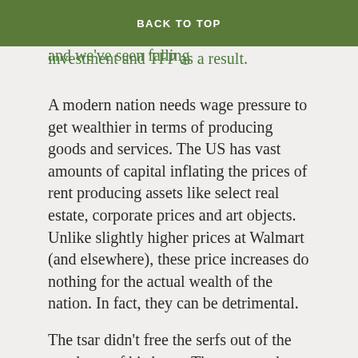washing person for $11/month. The US has had flat or declining wages for decades now, and we've seen falling investment and TFP as a result.
BACK TO TOP
A modern nation needs wage pressure to get wealthier in terms of producing goods and services. The US has vast amounts of capital inflating the prices of rent producing assets like select real estate, corporate prices and art objects. Unlike slightly higher prices at Walmart (and elsewhere), these price increases do nothing for the actual wealth of the nation. In fact, they can be detrimental.
The tsar didn't free the serfs out of the goodness of his heart. The tsar saw how badly a peasant army fought and realized that Russia needed a more modern social structure. A medieval society could not produce soldiers or weapons. While the profit margin on serfdom was high, it had a societal cost that even a not very bright